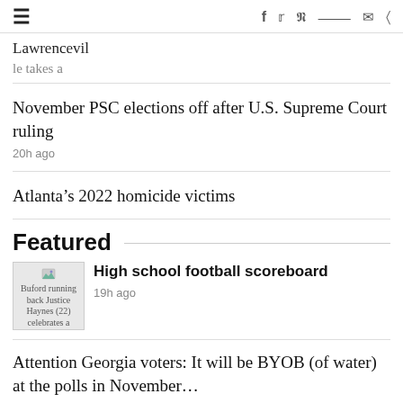≡  f  Twitter  Pinterest  Reddit  Mail  Comment
Lawrenceville takes a…
November PSC elections off after U.S. Supreme Court ruling
20h ago
Atlanta's 2022 homicide victims
Featured
Buford running back Justice Haynes (22) celebrates a…
High school football scoreboard
19h ago
Attention Georgia voters: It will be BYOB (of water) at the polls in November…